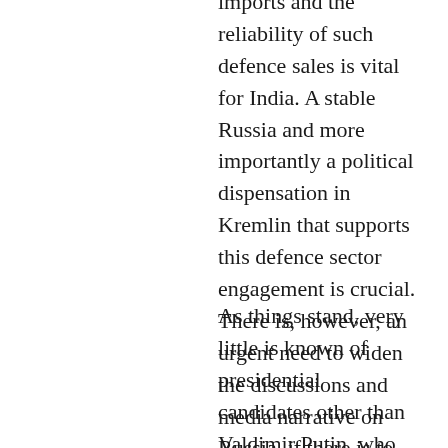imports and the reliability of such defence sales is vital for India. A stable Russia and more importantly a political dispensation in Kremlin that supports this defence sector engagement is crucial. There is, however, an urgent need to widen the discussions and media narrative on Russia, if there is to be meaningful and contemporary appreciation of this most significant ally in India.
As things stand, very little is known of presidential candidates other than Valdimir Putin, who has visited India several times, and is considered sensitive to this